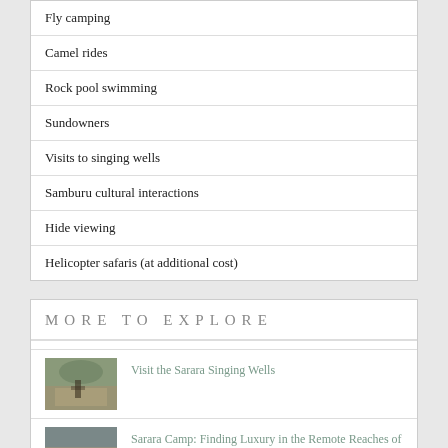| Fly camping |
| Camel rides |
| Rock pool swimming |
| Sundowners |
| Visits to singing wells |
| Samburu cultural interactions |
| Hide viewing |
| Helicopter safaris (at additional cost) |
MORE TO EXPLORE
[Figure (photo): A person standing in a mountainous landscape, Sarara Singing Wells]
Visit the Sarara Singing Wells
[Figure (photo): Rocky terrain landscape, Sarara Camp Kenya]
Sarara Camp: Finding Luxury in the Remote Reaches of Kenya